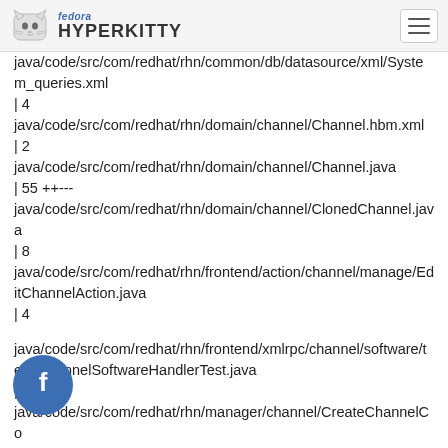fedora HYPERKITTY
java/code/src/com/redhat/rhn/common/db/datasource/xml/System_queries.xml
| 4
java/code/src/com/redhat/rhn/domain/channel/Channel.hbm.xml
| 2
java/code/src/com/redhat/rhn/domain/channel/Channel.java
| 55 ++---
java/code/src/com/redhat/rhn/domain/channel/ClonedChannel.java
| 8
java/code/src/com/redhat/rhn/frontend/action/channel/manage/EditChannelAction.java
| 4
java/code/src/com/redhat/rhn/frontend/xmlrpc/channel/software/test/ChannelSoftwareHandlerTest.java
| 4
java/code/src/com/redhat/rhn/manager/channel/CreateChannelCommand.java
java/code/src/com/redhat/rhn/manager/channel/UpdateChannelCo